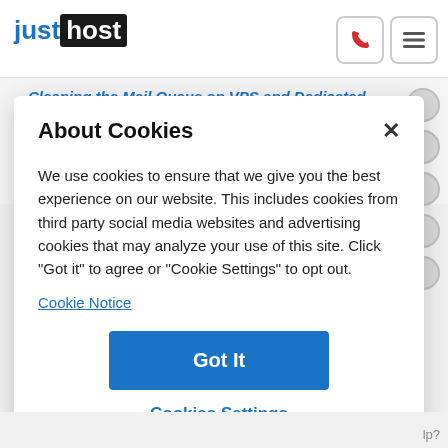[Figure (logo): JustHost logo — 'just' in blue, 'host' in white on black background]
Cleaning the Mail Queue on VPS and Dedicated Servers
This article will explain how to clear the outbound mail queue on a dedicated or VPS server.
Knowledgebase Article 📊 107,956 views 🏷️tags: dedi
About Cookies
We use cookies to ensure that we give you the best experience on our website. This includes cookies from third party social media websites and advertising cookies that may analyze your use of this site. Click "Got it" to agree or "Cookie Settings" to opt out.
Cookie Notice
Got It
Cookies Settings